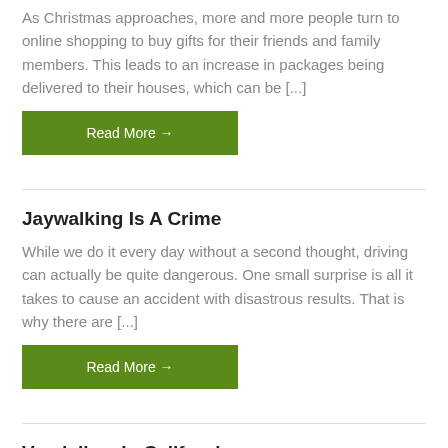As Christmas approaches, more and more people turn to online shopping to buy gifts for their friends and family members. This leads to an increase in packages being delivered to their houses, which can be [...]
Read More →
Jaywalking Is A Crime
While we do it every day without a second thought, driving can actually be quite dangerous. One small surprise is all it takes to cause an accident with disastrous results. That is why there are [...]
Read More →
Vandalism In California
Many people know what vandalism is. We hear about it, and see it, all of the time. Vandalism is taken very seriously in California.